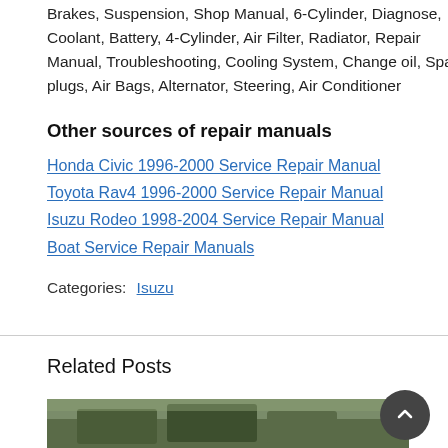Brakes, Suspension, Shop Manual, 6-Cylinder, Diagnose, Coolant, Battery, 4-Cylinder, Air Filter, Radiator, Repair Manual, Troubleshooting, Cooling System, Change oil, Spark plugs, Air Bags, Alternator, Steering, Air Conditioner
Other sources of repair manuals
Honda Civic 1996-2000 Service Repair Manual
Toyota Rav4 1996-2000 Service Repair Manual
Isuzu Rodeo 1998-2004 Service Repair Manual
Boat Service Repair Manuals
Categories: Isuzu
Related Posts
[Figure (photo): Partial view of a photo strip showing cars in a parking lot or outdoor area]